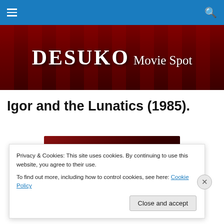Navigation bar with hamburger menu and search icon
[Figure (illustration): DESUKO Movie Spot banner with red cinema seats background and white text logo]
Igor and the Lunatics (1985).
[Figure (illustration): Movie title image for Igor and the Lunatics showing stylized text on dark red background]
Privacy & Cookies: This site uses cookies. By continuing to use this website, you agree to their use. To find out more, including how to control cookies, see here: Cookie Policy
Close and accept